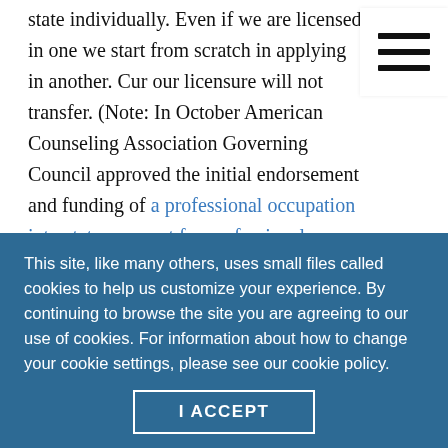state individually. Even if we are licensed in one we start from scratch in applying in another. Cur our licensure will not transfer. (Note: In October American Counseling Association Governing Council approved the initial endorsement and funding of a professional occupation interstate compact for professional counselors that could help to make licensure portability a reality in the future.) This matters for telehealth because we can't practice counseling in a state in which we are not licensed, at
This site, like many others, uses small files called cookies to help us customize your experience. By continuing to browse the site you are agreeing to our use of cookies. For information about how to change your cookie settings, please see our cookie policy.